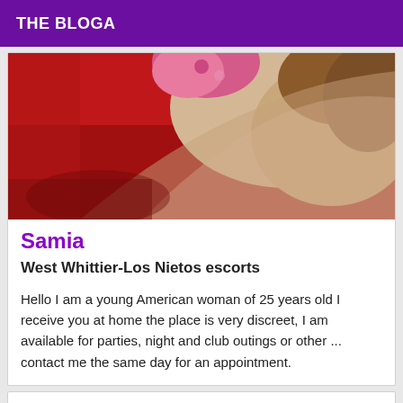THE BLOGA
[Figure (photo): Close-up photo showing a person's body with red and pink clothing/background]
Samia
West Whittier-Los Nietos escorts
Hello I am a young American woman of 25 years old I receive you at home the place is very discreet, I am available for parties, night and club outings or other ... contact me the same day for an appointment.